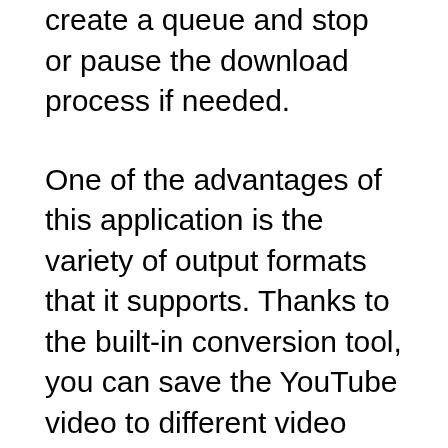create a queue and stop or pause the download process if needed.
One of the advantages of this application is the variety of output formats that it supports. Thanks to the built-in conversion tool, you can save the YouTube video to different video formats, such as WMV, MOV, MP4 (compatible with Apple devices and mobile phones), 3GP, AVI, FLV, MKV, and more. Furthermore, it can extract the audio stream from the input video and save it to your computer in MP3, AAC, AC3, WAV, and other commonly used formats. The output quality is also customizable, since you can save videos in standard, low, medium or high-quality, high-definition, or full HD, provided that the selected option is available